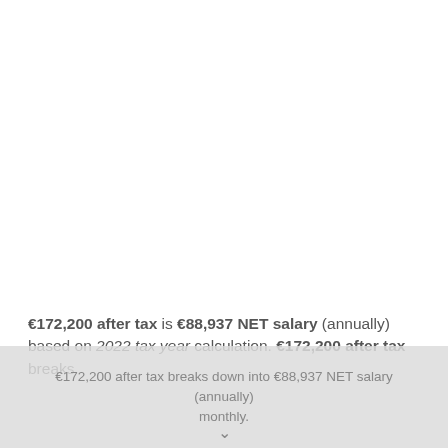€172,200 after tax is €88,937 NET salary (annually) based on 2022 tax year calculation. €172,200 after tax breaks down into €88,937 NET salary (annually)...